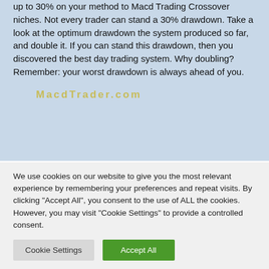up to 30% on your method to Macd Trading Crossover niches. Not every trader can stand a 30% drawdown. Take a look at the optimum drawdown the system produced so far, and double it. If you can stand this drawdown, then you discovered the best day trading system. Why doubling? Remember: your worst drawdown is always ahead of you.
If you bought the above XYZ stock at $20 and took revenues at $30, you would have a good 50% gain, however would have missed the 400% overall gain of the whole trend.
Among the most liquid, electronically accessible and active market is
We use cookies on our website to give you the most relevant experience by remembering your preferences and repeat visits. By clicking "Accept All", you consent to the use of ALL the cookies. However, you may visit "Cookie Settings" to provide a controlled consent.